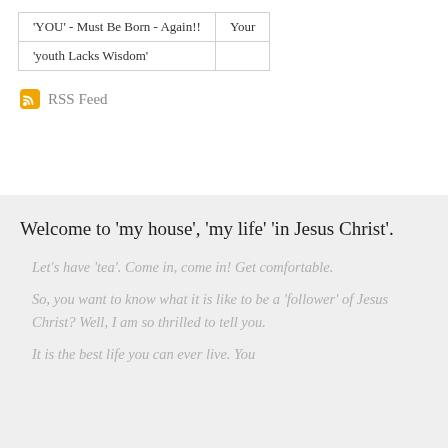| 'YOU' - Must Be Born - Again!! | Your |
| 'youth Lacks Wisdom' |  |
RSS Feed
Welcome to 'my house', 'my life' 'in Jesus Christ'.
Let's have 'tea'.  Come in, come in!  Get comfortable.
So, you want to know what it is like to be a 'follower' of Jesus Christ?  Well, I am so thrilled to tell you.
It is the best life you can ever live.  You become a child of the living God, the...